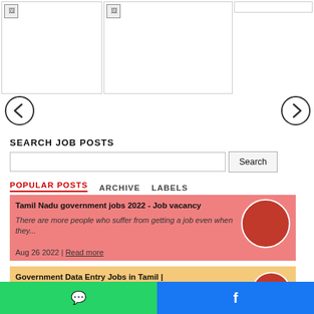[Figure (photo): Two broken/loading image placeholders side by side, plus a small third image box at top right]
[Figure (other): Left navigation arrow (previous) circle button]
[Figure (other): Right navigation arrow (next) circle button]
SEARCH JOB POSTS
Search
POPULAR POSTS   ARCHIVE   LABELS
Tamil Nadu government jobs 2022 - Job vacancy
There are more people who suffer from getting a job even when they...
Aug 26 2022 | Read more
Government Data Entry Jobs in Tamil |